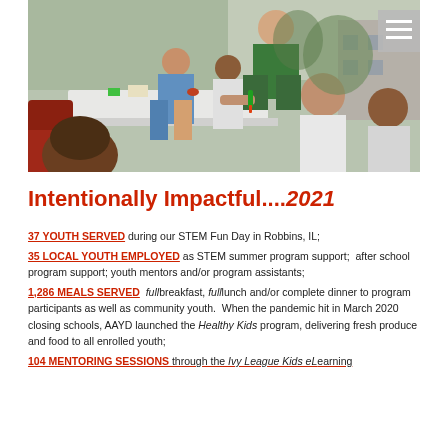[Figure (photo): Outdoor STEM activity scene with an adult man in green shirt helping several children at a table with craft/science materials]
Intentionally Impactful....2021
37 YOUTH SERVED during our STEM Fun Day in Robbins, IL; 35 LOCAL YOUTH EMPLOYED as STEM summer program support;  after school program support; youth mentors and/or program assistants; 1,286 MEALS SERVED  full breakfast, full lunch and/or complete dinner to program participants as well as community youth.  When the pandemic hit in March 2020 closing schools, AAYD launched the Healthy Kids program, delivering fresh produce and food to all enrolled youth; 104 MENTORING SESSIONS through the Ivy League Kids eLearning